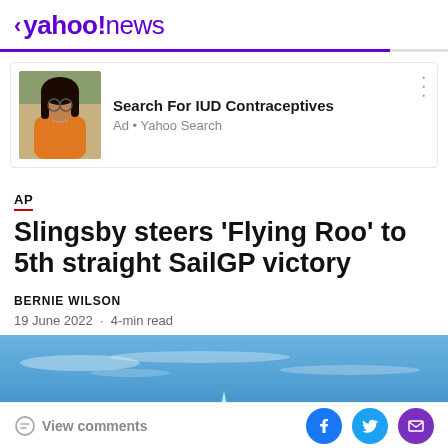< yahoo!news
[Figure (screenshot): Ad card with photo of a woman and text: Search For IUD Contraceptives. Ad • Yahoo Search]
Search For IUD Contraceptives
Ad • Yahoo Search
Slingsby steers 'Flying Roo' to 5th straight SailGP victory
BERNIE WILSON
19 June 2022 · 4-min read
[Figure (photo): Wide aerial/sky photo with blue sky and faint clouds, and a small sailboat visible at the bottom center]
View comments